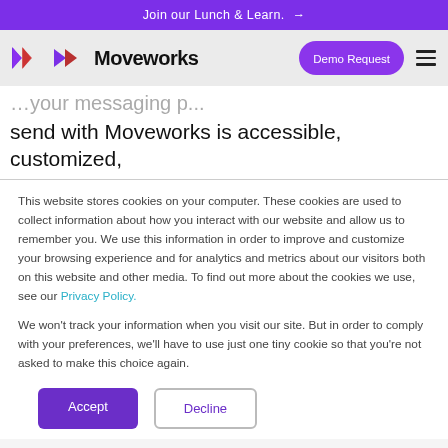Join our Lunch & Learn. →
[Figure (logo): Moveworks logo with purple arrow icon and bold text 'Moveworks', with a 'Demo Request' purple pill button and hamburger menu icon on the right]
send with Moveworks is accessible, customized,
This website stores cookies on your computer. These cookies are used to collect information about how you interact with our website and allow us to remember you. We use this information in order to improve and customize your browsing experience and for analytics and metrics about our visitors both on this website and other media. To find out more about the cookies we use, see our Privacy Policy.

We won't track your information when you visit our site. But in order to comply with your preferences, we'll have to use just one tiny cookie so that you're not asked to make this choice again.
Accept
Decline